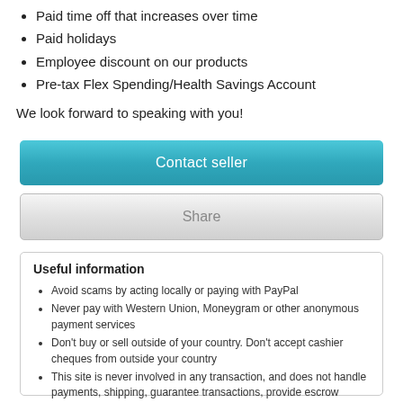Paid time off that increases over time
Paid holidays
Employee discount on our products
Pre-tax Flex Spending/Health Savings Account
We look forward to speaking with you!
Contact seller
Share
Useful information
Avoid scams by acting locally or paying with PayPal
Never pay with Western Union, Moneygram or other anonymous payment services
Don't buy or sell outside of your country. Don't accept cashier cheques from outside your country
This site is never involved in any transaction, and does not handle payments, shipping, guarantee transactions, provide escrow services, or offer "buyer protection" or "seller certification"